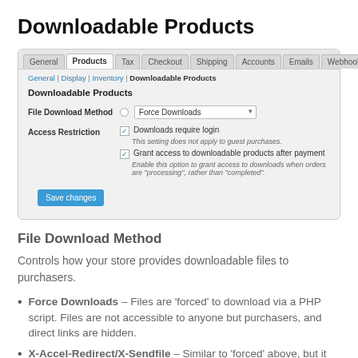Downloadable Products
[Figure (screenshot): WooCommerce admin settings panel showing Downloadable Products tab with File Download Method set to Force Downloads and Access Restriction checkboxes]
File Download Method
Controls how your store provides downloadable files to purchasers.
Force Downloads – Files are 'forced' to download via a PHP script. Files are not accessible to anyone but purchasers, and direct links are hidden.
X-Accel-Redirect/X-Sendfile – Similar to 'forced' above, but it has better performance and can support larger